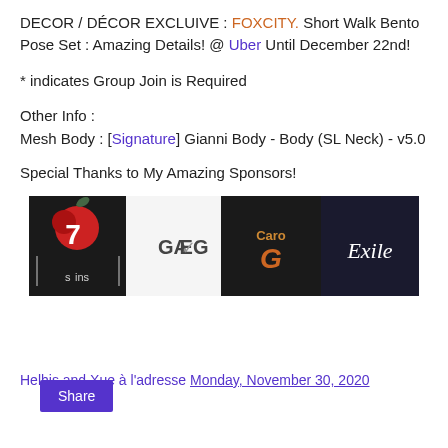DECOR / DÉCOR EXCLUIVE : FOXCITY. Short Walk Bento Pose Set : Amazing Details! @ Uber Until December 22nd!
* indicates Group Join is Required
Other Info :
Mesh Body : [Signature] Gianni Body - Body (SL Neck) - v5.0
Special Thanks to My Amazing Sponsors!
[Figure (logo): Sponsor logos banner showing: 7 Skins, GAEG, CaroIG, Exile]
Helhis and Xue à l'adresse Monday, November 30, 2020
Share